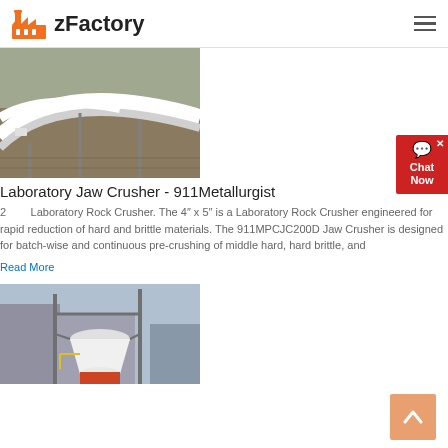zFactory
[Figure (photo): Aerial view of industrial conveyor belt system, showing white curved conveyor structures and machinery from above]
Laboratory Jaw Crusher - 911Metallurgist
2  Laboratory Rock Crusher. The 4" x 5" is a Laboratory Rock Crusher engineered for rapid reduction of hard and brittle materials. The 911MPCJC200D Jaw Crusher is designed for batch-wise and continuous pre-crushing of middle hard, hard brittle, and
Read More
[Figure (photo): Industrial grinding mill or crusher equipment at a mining or processing facility, showing a large white conical mill with surrounding steel structure]